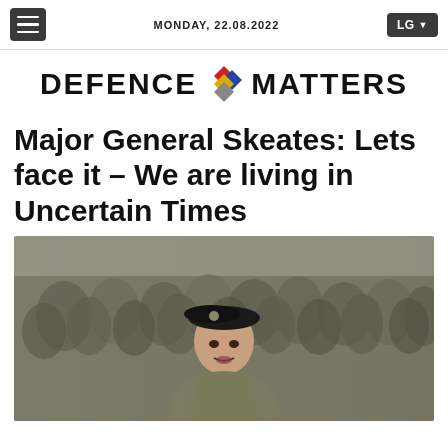MONDAY, 22.08.2022
DEFENCE MATTERS
Major General Skeates: Lets face it – We are living in Uncertain Times
[Figure (photo): Military officer in camouflage uniform and black beret speaking, with soldiers in camouflage standing in the background]